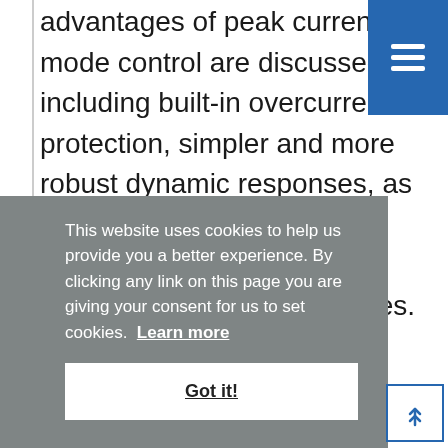advantages of peak current mode control are discussed, including built-in overcurrent protection, simpler and more robust dynamic responses, as well as abilities to ensure current sharing in parallel connected converter modules.
This website uses cookies to help us provide you a better experience. By clicking any link on this page you are giving your consent for us to set cookies. Learn more
Got it!